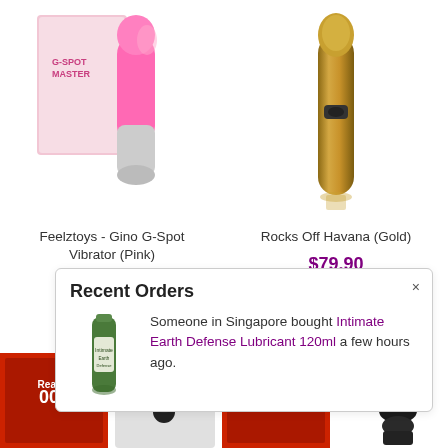[Figure (photo): Pink G-Spot vibrator product image with packaging box]
Feelztoys - Gino G-Spot Vibrator (Pink)
$79.90
[Figure (photo): Gold metallic bullet vibrator (Rocks Off Havana Gold) product image]
Rocks Off Havana (Gold)
$79.90
Recent Orders
[Figure (photo): Intimate Earth Defense Lubricant 120ml bottle]
Someone in Singapore bought Intimate Earth Defense Lubricant 120ml a few hours ago.
[Figure (photo): Bottom row product thumbnails showing adult product packaging]
[Figure (photo): Dark ridged anal plug product image on right side]